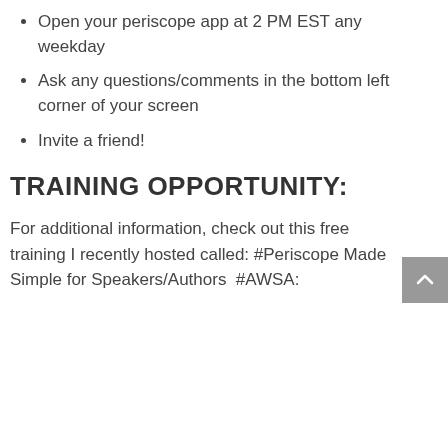Open your periscope app at 2 PM EST any weekday
Ask any questions/comments in the bottom left corner of your screen
Invite a friend!
TRAINING OPPORTUNITY:
For additional information, check out this free training I recently hosted called: #Periscope Made Simple for Speakers/Authors  #AWSA: